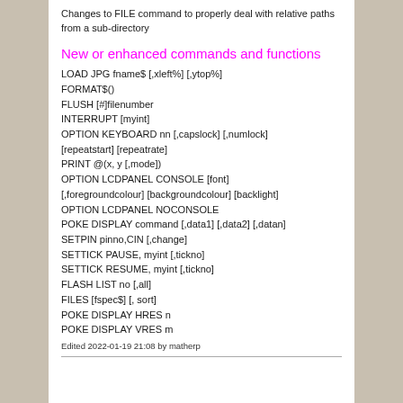Changes to FILE command to properly deal with relative paths from a sub-directory
New or enhanced commands and functions
LOAD JPG fname$ [,xleft%] [,ytop%]
FORMAT$()
FLUSH [#]filenumber
INTERRUPT [myint]
OPTION KEYBOARD nn [,capslock] [,numlock] [repeatstart] [repeatrate]
PRINT @(x, y [,mode])
OPTION LCDPANEL CONSOLE [font] [,foregroundcolour] [backgroundcolour] [backlight]
OPTION LCDPANEL NOCONSOLE
POKE DISPLAY command [,data1] [,data2] [,datan]
SETPIN pinno,CIN [,change]
SETTICK PAUSE, myint [,tickno]
SETTICK RESUME, myint [,tickno]
FLASH LIST no [,all]
FILES [fspec$] [, sort]
POKE DISPLAY HRES n
POKE DISPLAY VRES m
Edited 2022-01-19 21:08 by matherp